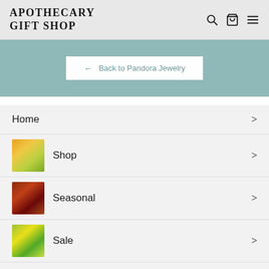Apothecary Gift Shop
[Figure (screenshot): Website navigation screenshot showing Apothecary Gift Shop header with search, cart, and menu icons]
← Back to Pandora Jewelry
Home
Shop
Seasonal
Sale
About Us